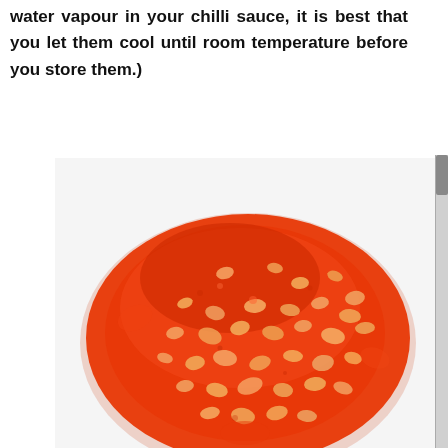water vapour in your chilli sauce, it is best that you let them cool until room temperature before you store them.)
[Figure (photo): A close-up photo of a round chilli sauce disc or frozen chilli paste patty with a bright red-orange color, showing visible chilli seeds and chunky texture, placed on a white surface.]